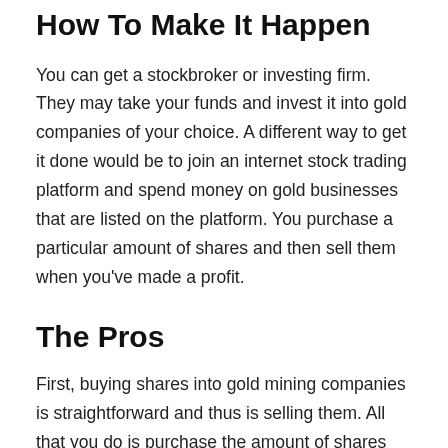How To Make It Happen
You can get a stockbroker or investing firm. They may take your funds and invest it into gold companies of your choice. A different way to get it done would be to join an internet stock trading platform and spend money on gold businesses that are listed on the platform. You purchase a particular amount of shares and then sell them when you’ve made a profit.
The Pros
First, buying shares into gold mining companies is straightforward and thus is selling them. All that you do is purchase the amount of shares you would like then sell them off when you’re prepared